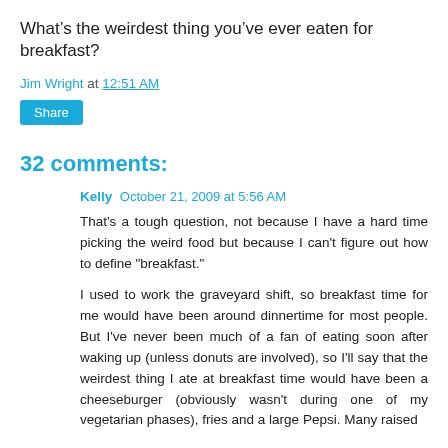What’s the weirdest thing you’ve ever eaten for breakfast?
Jim Wright at 12:51 AM
Share
32 comments:
Kelly  October 21, 2009 at 5:56 AM
That's a tough question, not because I have a hard time picking the weird food but because I can't figure out how to define "breakfast."
I used to work the graveyard shift, so breakfast time for me would have been around dinnertime for most people. But I've never been much of a fan of eating soon after waking up (unless donuts are involved), so I'll say that the weirdest thing I ate at breakfast time would have been a cheeseburger (obviously wasn't during one of my vegetarian phases), fries and a large Pepsi. Many raised